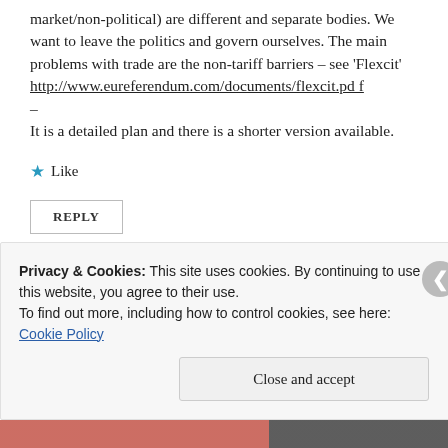European Court (politics) and the EEA (single market/non-political) are different and separate bodies. We want to leave the politics and govern ourselves. The main problems with trade are the non-tariff barriers – see 'Flexcit' http://www.eureferendum.com/documents/flexcit.pdf It is a detailed plan and there is a shorter version available.
★ Like
REPLY
Privacy & Cookies: This site uses cookies. By continuing to use this website, you agree to their use. To find out more, including how to control cookies, see here: Cookie Policy
Close and accept